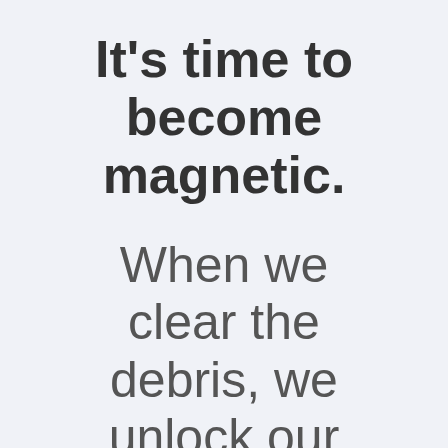It's time to become magnetic.
When we clear the debris, we unlock our